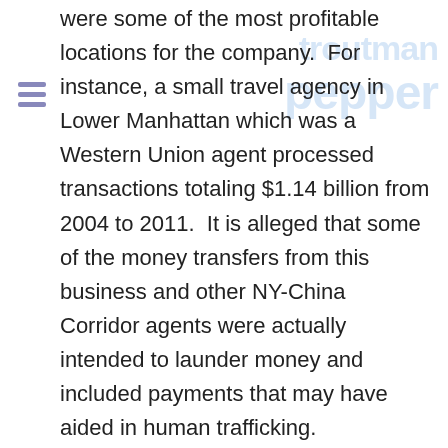were some of the most profitable locations for the company.  For instance, a small travel agency in Lower Manhattan which was a Western Union agent processed transactions totaling $1.14 billion from 2004 to 2011.  It is alleged that some of the money transfers from this business and other NY-China Corridor agents were actually intended to launder money and included payments that may have aided in human trafficking.
An investigation by DFS revealed that Western Union conducted compliance investigations of several agents and had evidence that indicated there appeared to be illegal and improper activities occurring at these locations however as allegedly directed by